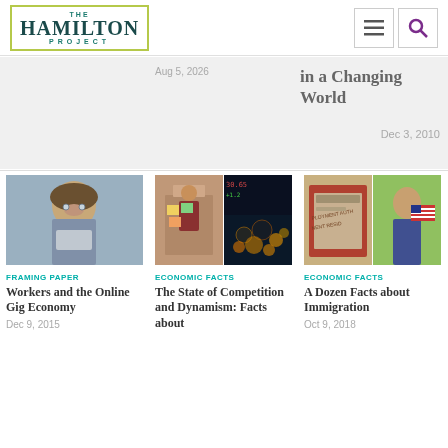THE HAMILTON PROJECT
in a Changing World
Dec 3, 2010
[Figure (photo): Man in beanie hat looking at phone]
FRAMING PAPER
Workers and the Online Gig Economy
Dec 9, 2015
[Figure (photo): Woman at store window with sticky notes, and blurred city lights at night]
ECONOMIC FACTS
The State of Competition and Dynamism: Facts about
[Figure (photo): Employment residency document and young girl with American flag]
ECONOMIC FACTS
A Dozen Facts about Immigration
Oct 9, 2018